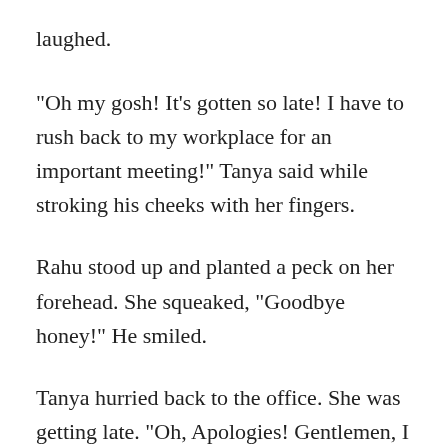laughed.
“Oh my gosh! It’s gotten so late! I have to rush back to my workplace for an important meeting!” Tanya said while stroking his cheeks with her fingers.
Rahu stood up and planted a peck on her forehead. She squeaked, “Goodbye honey!” He smiled.
Tanya hurried back to the office. She was getting late. “Oh, Apologies! Gentlemen, I was stuck in a jam!” Tanya opened the door and before anyone could murmur, she began speaking confidently, “So let us see our